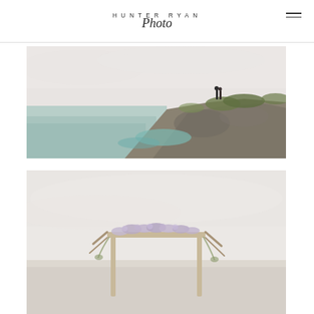HUNTER RYAN Photo
[Figure (photo): Coastal cliffside landscape with two people (couple) standing on a rocky promontory next to a floral arch, overlooking turquoise-blue ocean water, overcast sky]
[Figure (photo): Beach ceremony setup with a floral arch decorated with lavender/purple flowers and greenery, soft overcast sky background, pale sand]